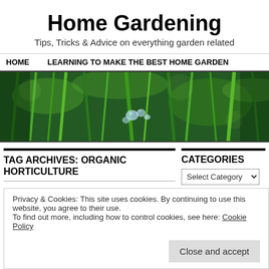Home Gardening
Tips, Tricks & Advice on everything garden related
HOME   LEARNING TO MAKE THE BEST HOME GARDEN
[Figure (photo): Close-up photo of green grass blades with water droplets]
TAG ARCHIVES: ORGANIC HORTICULTURE
CATEGORIES
Select Category
Privacy & Cookies: This site uses cookies. By continuing to use this website, you agree to their use. To find out more, including how to control cookies, see here: Cookie Policy
Close and accept